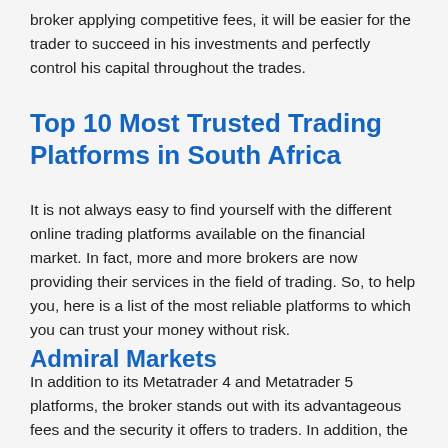broker applying competitive fees, it will be easier for the trader to succeed in his investments and perfectly control his capital throughout the trades.
Top 10 Most Trusted Trading Platforms in South Africa
It is not always easy to find yourself with the different online trading platforms available on the financial market. In fact, more and more brokers are now providing their services in the field of trading. So, to help you, here is a list of the most reliable platforms to which you can trust your money without risk.
Admiral Markets
In addition to its Metatrader 4 and Metatrader 5 platforms, the broker stands out with its advantageous fees and the security it offers to traders. In addition, the online trading platform offers very good execution of trading transactions. Also, Admiral Markets is also known for the quality of its customer service